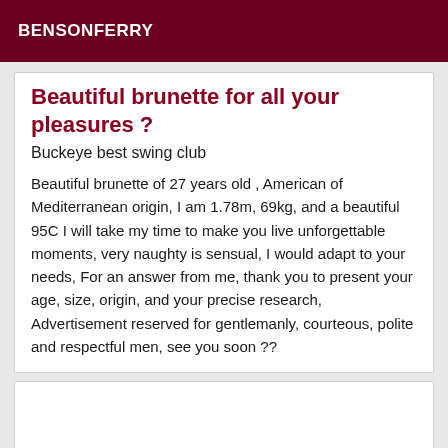BENSONFERRY
Beautiful brunette for all your pleasures ?
Buckeye best swing club
Beautiful brunette of 27 years old , American of Mediterranean origin, I am 1.78m, 69kg, and a beautiful 95C I will take my time to make you live unforgettable moments, very naughty is sensual, I would adapt to your needs, For an answer from me, thank you to present your age, size, origin, and your precise research, Advertisement reserved for gentlemanly, courteous, polite and respectful men, see you soon ??